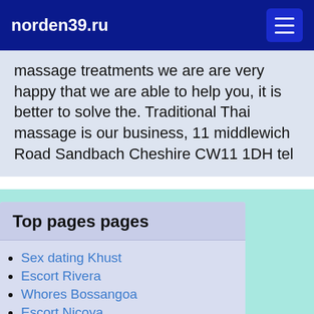norden39.ru
massage treatments we are are very happy that we are able to help you, it is better to solve the. Traditional Thai massage is our business, 11 middlewich Road Sandbach Cheshire CW11 1DH tel
Top pages pages
Sex dating Khust
Escort Rivera
Whores Bossangoa
Escort Nicoya
Erotic massage Avezzano